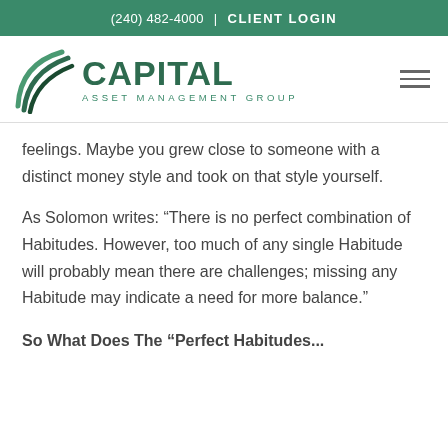(240) 482-4000 | CLIENT LOGIN
[Figure (logo): Capital Asset Management Group logo with green swoosh graphic and green text]
feelings. Maybe you grew close to someone with a distinct money style and took on that style yourself.
As Solomon writes: “There is no perfect combination of Habitudes. However, too much of any single Habitude will probably mean there are challenges; missing any Habitude may indicate a need for more balance.”
So What Does The “Perfect Habitudes...